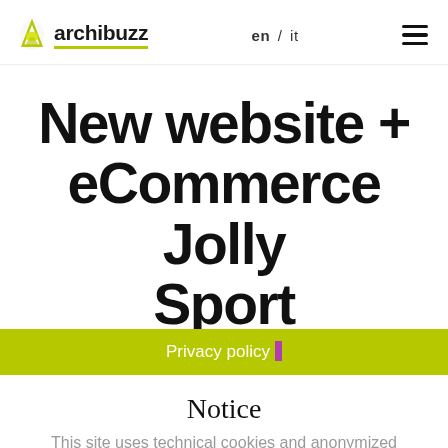archibuzz  en / it  ☰
New website + eCommerce Jolly Sport
Privacy policy
Notice
This site uses technical cookies and anonymized analytical cookies for technical purposes and, with